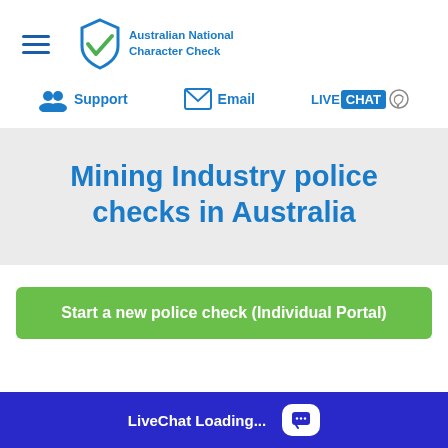Australian National Character Check
[Figure (logo): Australian National Character Check logo with blue shield/checkmark and text]
[Figure (infographic): Navigation bar with Support, Email, and LiveChat options]
Mining Industry police checks in Australia
Start a new police check (Individual Portal)
LiveChat Loading...